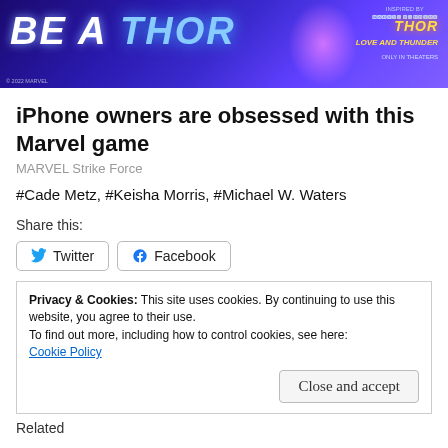[Figure (illustration): Marvel Thor Love and Thunder promotional banner ad with text 'BE A THOR' in bold white/blue on dark blue background, inspired by Marvel Studios Thor Love and Thunder, Only in Theaters]
iPhone owners are obsessed with this Marvel game
MARVEL Strike Force
#Cade Metz, #Keisha Morris, #Michael W. Waters
Share this:
Twitter Facebook
Privacy & Cookies: This site uses cookies. By continuing to use this website, you agree to their use.
To find out more, including how to control cookies, see here:
Cookie Policy
Close and accept
Related